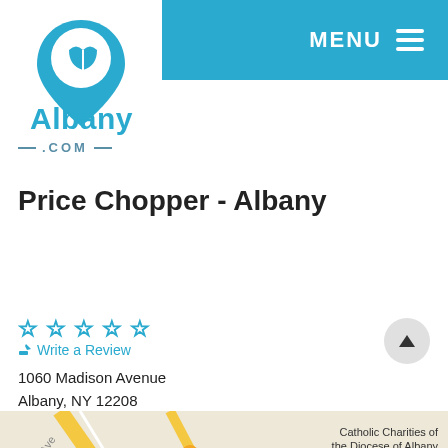[Figure (logo): Albany.com logo: teal location pin with leaf/book icon inside circle, with 'Albany' and '.COM' text below in teal]
Price Chopper - Albany
CLAIM YOUR LISTING
☆ ☆ ☆ ☆ ☆  Write a Review
1060 Madison Avenue
Albany, NY 12208
Call
[Figure (map): Partial map showing street with Catholic Charities of the Diocese of Albany label visible]